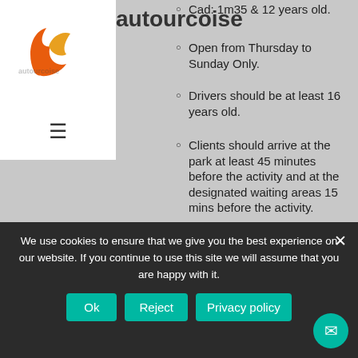[Figure (logo): Autourcoise website logo with orange flame/leaf icon on white background]
[Figure (screenshot): Hamburger menu icon (three horizontal lines)]
autourcoise
Cad: 1m35 & 12 years old.
Open from Thursday to Sunday Only.
Drivers should be at least 16 years old.
Clients should arrive at the park at least 45 minutes before the activity and at the designated waiting areas 15 mins before the activity.
Alternate outing may not be proposed to late arrivals and there will be no refund.
Disclaimer form is compulsory and ...
We use cookies to ensure that we give you the best experience on our website. If you continue to use this site we will assume that you are happy with it.